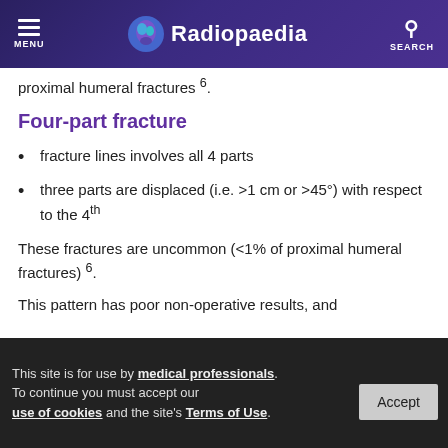Radiopaedia
proximal humeral fractures 6.
Four-part fracture
fracture lines involves all 4 parts
three parts are displaced (i.e. >1 cm or >45°) with respect to the 4th
These fractures are uncommon (<1% of proximal humeral fractures) 6.
This pattern has poor non-operative results, and
This site is for use by medical professionals. To continue you must accept our use of cookies and the site's Terms of Use.